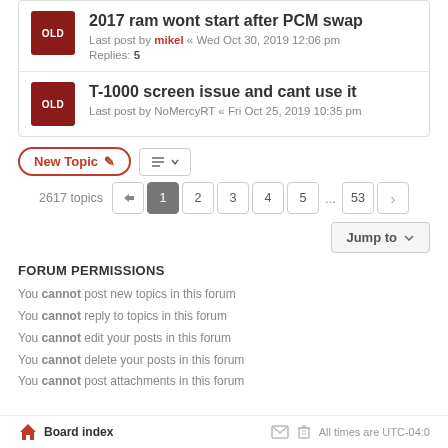2017 ram wont start after PCM swap
Last post by mikel « Wed Oct 30, 2019 12:06 pm
Replies: 5
T-1000 screen issue and cant use it
Last post by NoMercyRT « Fri Oct 25, 2019 10:35 pm
2617 topics  1 2 3 4 5 ... 53
FORUM PERMISSIONS
You cannot post new topics in this forum
You cannot reply to topics in this forum
You cannot edit your posts in this forum
You cannot delete your posts in this forum
You cannot post attachments in this forum
Board index   All times are UTC-04:00